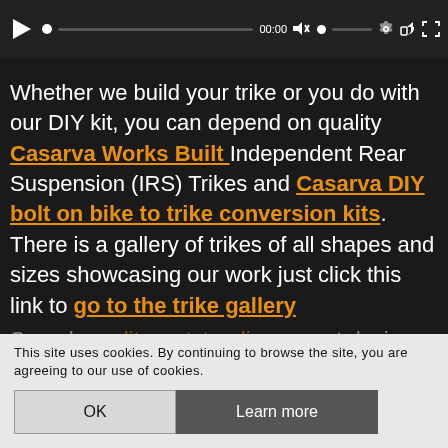[Figure (screenshot): Video player control bar with play button, progress bar, timestamp 00:00, volume controls, settings, share and fullscreen icons on dark background]
Whether we build your trike or you do with our DIY kit, you can depend on quality Casarva Works Built Independent Rear Suspension (IRS) Trikes and Casarva DIY bolt on bike to trike conversion kits. There is a gallery of trikes of all shapes and sizes showcasing our work just click this link to go to the trike gallery
Superb quality, outstanding expert design and genuine value for money are just 3 of the good reasons why, for bike to trike
This site uses cookies. By continuing to browse the site, you are agreeing to our use of cookies.